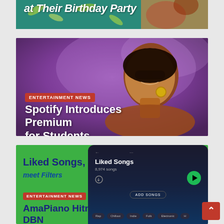[Figure (photo): Cropped top of a news card showing a birthday party article title partially visible, with colorful fabric/pattern background in teal and banana print]
at Their Birthday Party
[Figure (photo): A smiling Black woman with golden hoop earrings and sunglasses against a purple sky background, used as hero image for Spotify Students article]
ENTERTAINMENT NEWS
Spotify Introduces Premium for Students
[Figure (screenshot): A green background card showing Spotify app screenshot with Liked Songs playlist, along with text overlay about AmaPiano artist DBN]
Liked Songs,
ENTERTAINMENT NEWS
AmaPiano Hitmaker DBN